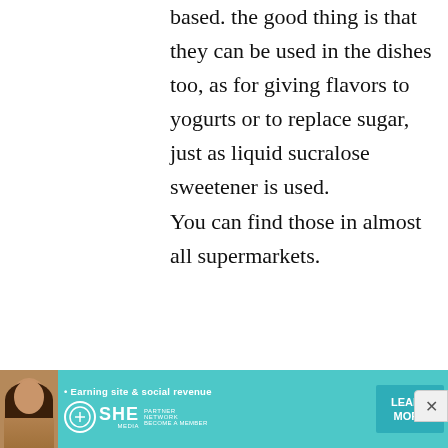based. the good thing is that they can be used in the dishes too, as for giving flavors to yogurts or to replace sugar, just as liquid sucralose sweetener is used. You can find those in almost all supermarkets.
[Figure (infographic): Advertisement banner for SHE Media Partner Network with teal background, woman photo on left, text 'Earning site & social revenue', SHE logo, and 'LEARN MORE' button]